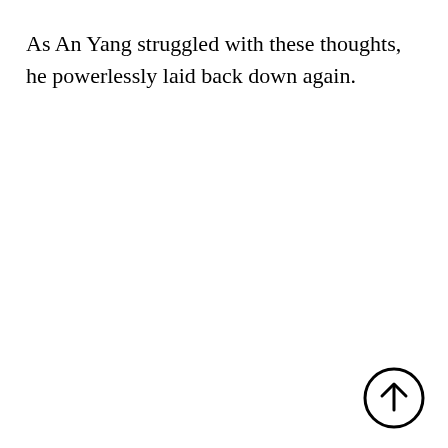As An Yang struggled with these thoughts, he powerlessly laid back down again.
[Figure (other): Circled upward arrow icon (navigation/scroll-to-top button) in bottom-right corner]